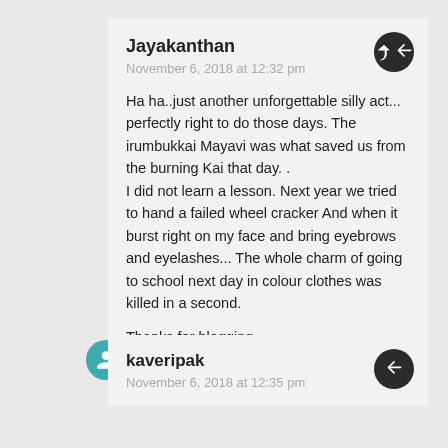Jayakanthan
November 6, 2018 at 12:32 pm
Ha ha..just another unforgettable silly act... perfectly right to do those days. The irumbukkai Mayavi was what saved us from the burning Kai that day. . I did not learn a lesson. Next year we tried to hand a failed wheel cracker And when it burst right on my face and bring eyebrows and eyelashes... The whole charm of going to school next day in colour clothes was killed in a second.
Thanks for blogging
Liked by 1 person
kaveripak
November 6, 2018 at 12:35 pm